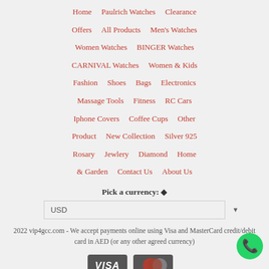Home  Paulrich Watches  Clearance  Offers  All Products  Men's Watches  Women Watches  BINGER Watches  CARNIVAL Watches  Women & Kids  Fashion  Shoes  Bags  Electronics  Massage Tools  Fitness  RC Cars  Iphone Covers  Coffee Cups  Other Product  New Collection  Silver 925  Rosary  Jewlery  Diamond  Home & Garden  Contact Us  About Us
Pick a currency: ◆
USD
2022 vip4gcc.com - We accept payments online using Visa and MasterCard credit/debit card in AED (or any other agreed currency)